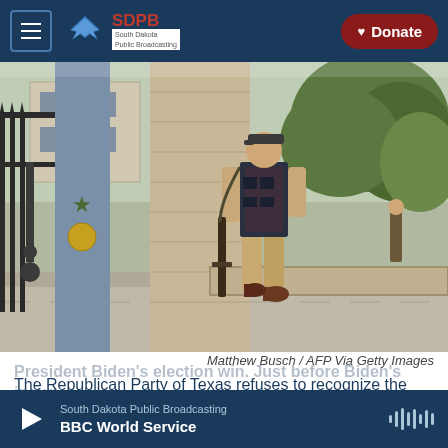SDPB South Dakota Public Broadcasting | Donate
[Figure (photo): Armed person leaning against stone pillar near iron fence and gate, likely at Texas State Capitol in Austin, with trees and building in background]
Matthew Busch / AFP Via Getty Images
The Republican Party of Texas refuses to recognize the legitimacy of President Biden's election win. Just before Biden's inauguration in 2021, armed groups held a rally in front of the Texas State Capitol in Austin.
South Dakota Public Broadcasting
BBC World Service